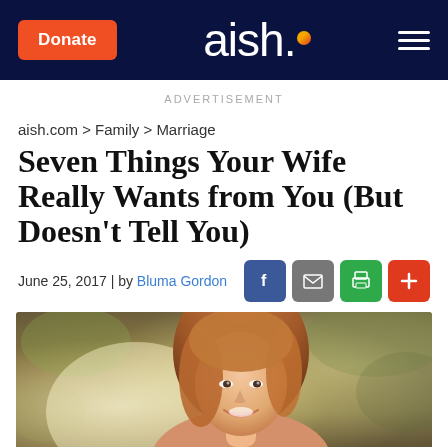Donate | aish. | menu
ADVERTISEMENT
aish.com > Family > Marriage
Seven Things Your Wife Really Wants from You (But Doesn't Tell You)
June 25, 2017 | by Bluma Gordon
[Figure (photo): A smiling young woman with long red/auburn hair outdoors with blurred foliage in background]